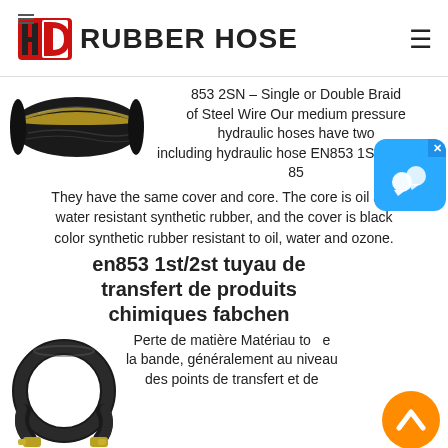[Figure (logo): HD Rubber Hose logo with red D shape and black H, followed by bold text RUBBER HOSE]
[Figure (photo): Yellow and black hydraulic rubber hose, cross-section visible]
853 2SN – Single or Double Braid of Steel Wire Our medium pressure hydraulic hoses have two including hydraulic hose EN853 1SN and EN 853 They have the same cover and core. The core is oil and water resistant synthetic rubber, and the cover is black color synthetic rubber resistant to oil, water and ozone.
en853 1st/2st tuyau de transfert de produits chimiques fabchen
[Figure (photo): Black rubber hose coiled with brass fittings at both ends]
Perte de matière Matériau to la bande, généralement au niveau des points de transfert et de